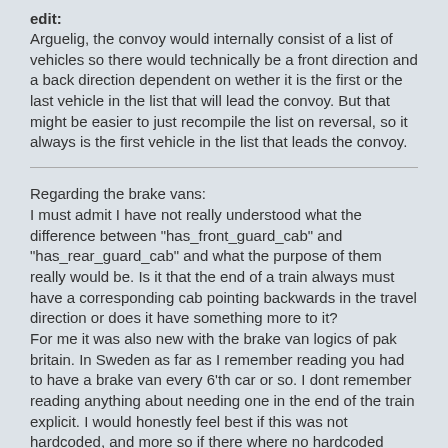edit: Arguelig, the convoy would internally consist of a list of vehicles so there would technically be a front direction and a back direction dependent on wether it is the first or the last vehicle in the list that will lead the convoy. But that might be easier to just recompile the list on reversal, so it always is the first vehicle in the list that leads the convoy.
Regarding the brake vans: I must admit I have not really understood what the difference between "has_front_guard_cab" and "has_rear_guard_cab" and what the purpose of them really would be. Is it that the end of a train always must have a corresponding cab pointing backwards in the travel direction or does it have something more to it? For me it was also new with the brake van logics of pak britain. In Sweden as far as I remember reading you had to have a brake van every 6'th car or so. I dont remember reading anything about needing one in the end of the train explicit. I would honestly feel best if this was not hardcoded, and more so if there where no hardcoded default rules at all, save for my suggestion below with simuconf.tab.